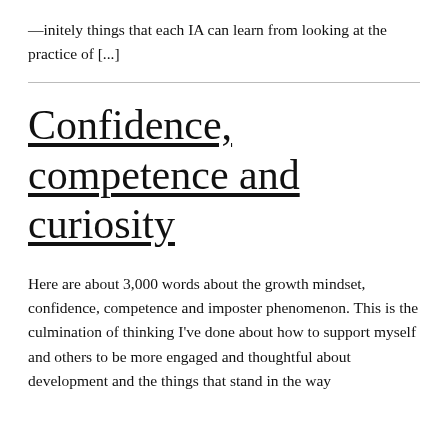— initely things that each IA can learn from looking at the practice of [...]
Confidence, competence and curiosity
Here are about 3,000 words about the growth mindset, confidence, competence and imposter phenomenon. This is the culmination of thinking I've done about how to support myself and others to be more engaged and thoughtful about development and the things that stand in the way